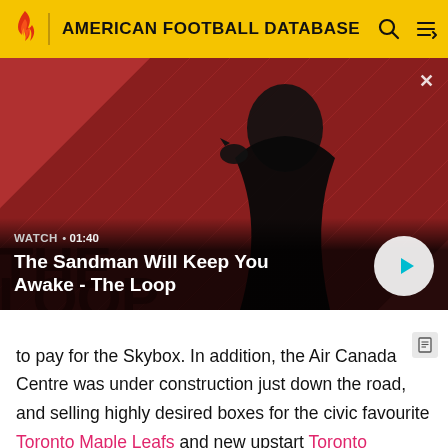AMERICAN FOOTBALL DATABASE
[Figure (screenshot): Video thumbnail showing a dark-cloaked figure with a raven on his shoulder against a red and black striped background. Title text 'The Sandman Will Keep You Awake - The Loop' with watch time 01:40 and a play button.]
to pay for the Skybox. In addition, the Air Canada Centre was under construction just down the road, and selling highly desired boxes for the civic favourite Toronto Maple Leafs and new upstart Toronto Raptors, who originally played in the SkyDome since their establishment in 1995.